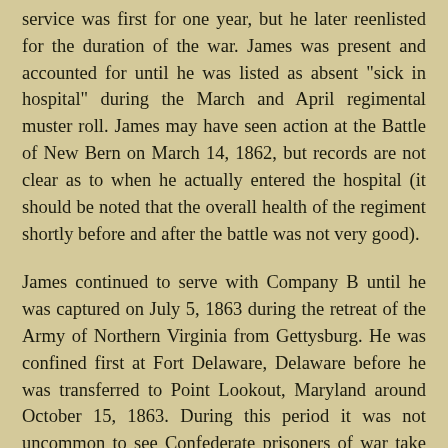service was first for one year, but he later reenlisted for the duration of the war. James was present and accounted for until he was listed as absent "sick in hospital" during the March and April regimental muster roll. James may have seen action at the Battle of New Bern on March 14, 1862, but records are not clear as to when he actually entered the hospital (it should be noted that the overall health of the regiment shortly before and after the battle was not very good).
James continued to serve with Company B until he was captured on July 5, 1863 during the retreat of the Army of Northern Virginia from Gettysburg. He was confined first at Fort Delaware, Delaware before he was transferred to Point Lookout, Maryland around October 15, 1863. During this period it was not uncommon to see Confederate prisoners of war take an Oath of Allegiance and enlist in the United States service in return for their release from prison. Considering the conditions that had to be endured in Civil War prison camps this was an enticing offer. In fact, James himself accepted such an offer.